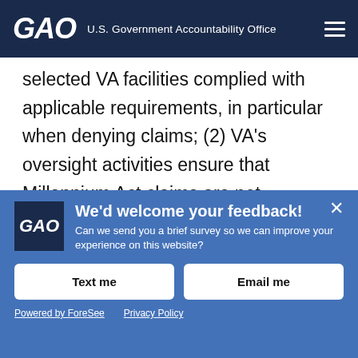GAO U.S. Government Accountability Office
selected VA facilities complied with applicable requirements, in particular when denying claims; (2) VA's oversight activities ensure that Millennium Act claims are not inappropriately denied; and (3) veterans understand the Act's emergency care benefit and how VA communicates with non-VA providers about Millennium Act claims.
[Figure (infographic): Feedback survey popup overlay with GAO logo, heading 'We'd welcome your feedback!', subtitle 'Can we send you a brief survey so we can improve your experience on this website?', two buttons labeled 'Text me' and 'Email me', and footer links 'Powered by ForeSee' and 'Privacy Policy'.]